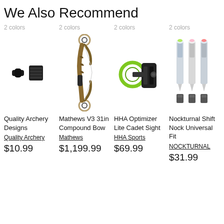We Also Recommend
2 colors
[Figure (photo): Quality Archery Designs product - arrow nock and vane accessories in black]
Quality Archery Designs
Quality Archery
$10.99
2 colors
[Figure (photo): Mathews V3 31in Compound Bow in camo finish]
Mathews V3 31in Compound Bow
Mathews
$1,199.99
2 colors
[Figure (photo): HHA Optimizer Lite Cadet Sight with green accent]
HHA Optimizer Lite Cadet Sight
HHA Sports
$69.99
2 colors
[Figure (photo): Nockturnal Shift Nock Universal Fit - three illuminated arrow nocks]
Nockturnal Shift Nock Universal Fit
NOCKTURNAL
$31.99